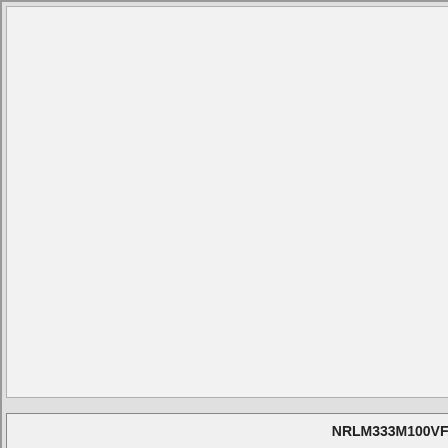Название/Part N
NRLM333M100V
Описание/Descri
Large Can Alum
Производитель/М
NIC-Component
Ссылка на datas
~/NRLM
NRLM333M100VF.PDF (58 Kb)